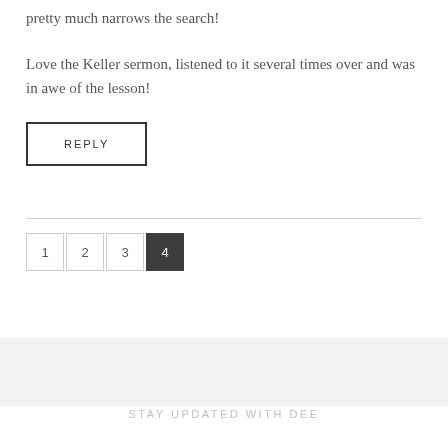pretty much narrows the search!
Love the Keller sermon, listened to it several times over and was in awe of the lesson!
REPLY
1 2 3 4
STAY UPDATED WITH DEE